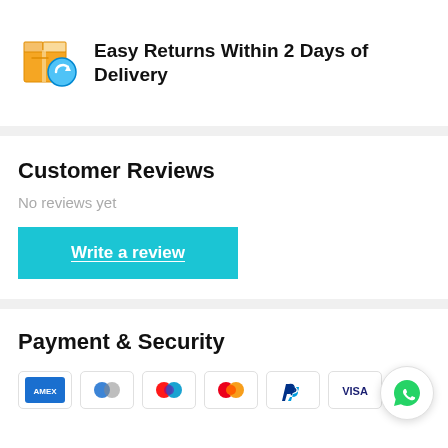[Figure (illustration): Cardboard box with return arrow icon]
Easy Returns Within 2 Days of Delivery
Customer Reviews
No reviews yet
Write a review
Payment & Security
[Figure (other): Payment method icons: Amex, Diners Club, Maestro, Mastercard, PayPal, Visa]
[Figure (other): WhatsApp floating chat button]